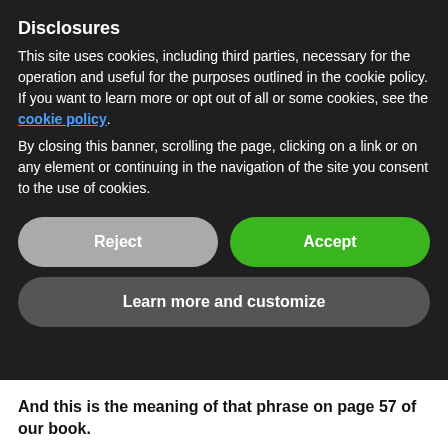Disclosures
This site uses cookies, including third parties, necessary for the operation and useful for the purposes outlined in the cookie policy. If you want to learn more or opt out of all or some cookies, see the cookie policy. By closing this banner, scrolling the page, clicking on a link or on any element or continuing in the navigation of the site you consent to the use of cookies.
Reject
Accept
Learn more and customize
And this is the meaning of that phrase on page 57 of our book.
For us in BertO, knowing how to do more than one thing – and therefore being able to help our colleagues in many different